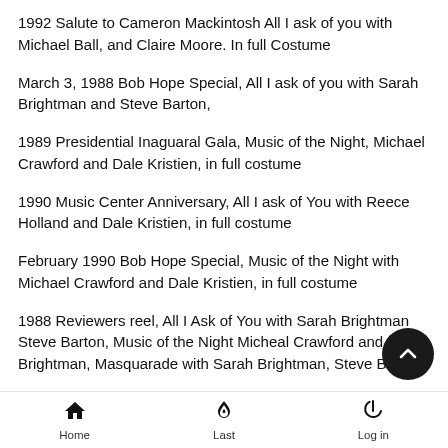1992 Salute to Cameron Mackintosh All I ask of you with Michael Ball, and Claire Moore. In full Costume
March 3, 1988 Bob Hope Special, All I ask of you with Sarah Brightman and Steve Barton,
1989 Presidential Inaguaral Gala, Music of the Night, Michael Crawford and Dale Kristien, in full costume
1990 Music Center Anniversary, All I ask of You with Reece Holland and Dale Kristien, in full costume
February 1990 Bob Hope Special, Music of the Night with Michael Crawford and Dale Kristien, in full costume
1988 Reviewers reel, All I Ask of You with Sarah Brightman Steve Barton, Music of the Night Micheal Crawford and Sar Brightman, Masquarade with Sarah Brightman, Steve Barton
Home  Last  Log in